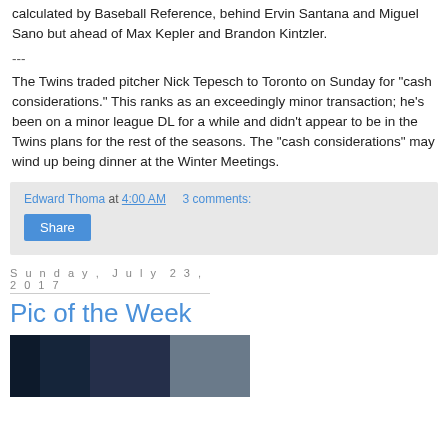calculated by Baseball Reference, behind Ervin Santana and Miguel Sano but ahead of Max Kepler and Brandon Kintzler.
---
The Twins traded pitcher Nick Tepesch to Toronto on Sunday for "cash considerations." This ranks as an exceedingly minor transaction; he's been on a minor league DL for a while and didn't appear to be in the Twins plans for the rest of the seasons. The "cash considerations" may wind up being dinner at the Winter Meetings.
Edward Thoma at 4:00 AM   3 comments:
Share
Sunday, July 23, 2017
Pic of the Week
[Figure (photo): Partial photo strip visible at bottom of page, dark blue/navy tones]